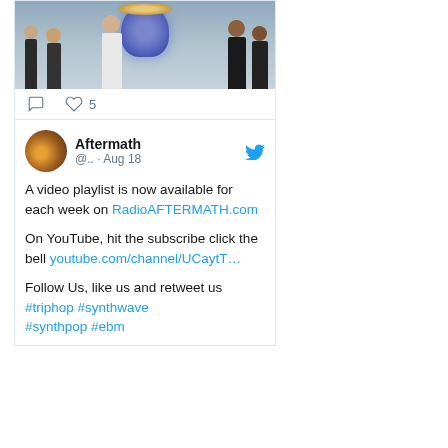[Figure (photo): Twitter post image showing a promotional photo of 5 men (a band) posed in front of a large illustrated face/mural against a cloudy sky background]
♡ 5 (like count)
Aftermath @.. · Aug 18
A video playlist is now available for each week on RadioAFTERMATH.com

On YouTube, hit the subscribe click the bell youtube.com/channel/UCaytT…

Follow Us, like us and retweet us #triphop #synthwave #synthpop #ebm